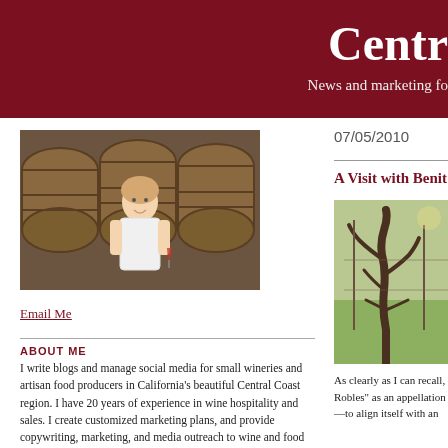Centr
News and marketing fo
[Figure (photo): Woman standing in front of wine barrels in a winery cellar, holding a glass of red wine, wearing a white vest]
Email Me
ABOUT ME
I write blogs and manage social media for small wineries and artisan food producers in California's beautiful Central Coast region. I have 20 years of experience in wine hospitality and sales. I create customized marketing plans, and provide copywriting, marketing, and media outreach to wine and food artisans. I love my job.
If you'd like to find out more about how to become part of Central Coast Wine Blogs, feel free to contact me any time. My email address is mary@centralcoastwineblogs.com.
I'll look forward to hearing from you soon!
07/05/2010
A Visit with Benit
[Figure (photo): Old gnarled grapevine trunk in a vineyard with green grass and other vines visible in background]
As clearly as I can recall,
Robles" as an appellation
—to align itself with an